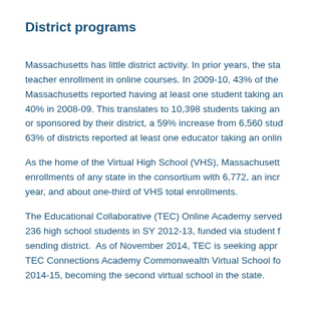District programs
Massachusetts has little district activity. In prior years, the state tracked teacher enrollment in online courses. In 2009-10, 43% of the Massachusetts reported having at least one student taking an online course, up from 40% in 2008-09. This translates to 10,398 students taking an online course offered or sponsored by their district, a 59% increase from 6,560 students in 2008-09. Also, 63% of districts reported at least one educator taking an online course.
As the home of the Virtual High School (VHS), Massachusetts had the most enrollments of any state in the consortium with 6,772, an increase from the prior year, and about one-third of VHS total enrollments.
The Educational Collaborative (TEC) Online Academy served 236 high school students in SY 2012-13, funded via student fees paid by the sending district.  As of November 2014, TEC is seeking approval to create TEC Connections Academy Commonwealth Virtual School for the SY 2014-15, becoming the second virtual school in the state.